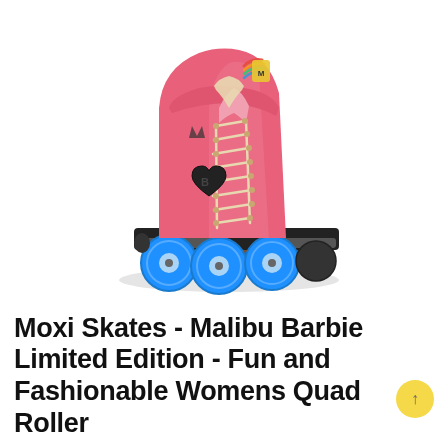[Figure (photo): A pink suede quad roller skate (Moxi Skates Malibu Barbie Limited Edition) with cream/tan laces, a brown sole, black metal plate, and bright blue wheels. The skate features a black heart-shaped logo badge on the side and a small rainbow flag detail at the top back. The skate is photographed on a white background at a three-quarter angle.]
Moxi Skates - Malibu Barbie Limited Edition - Fun and Fashionable Womens Quad Roller